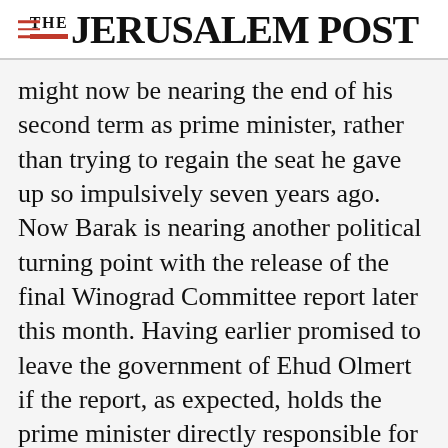THE JERUSALEM POST
might now be nearing the end of his second term as prime minister, rather than trying to regain the seat he gave up so impulsively seven years ago. Now Barak is nearing another political turning point with the release of the final Winograd Committee report later this month. Having earlier promised to leave the government of Ehud Olmert if the report, as expected, holds the prime minister directly responsible for
Advertisement